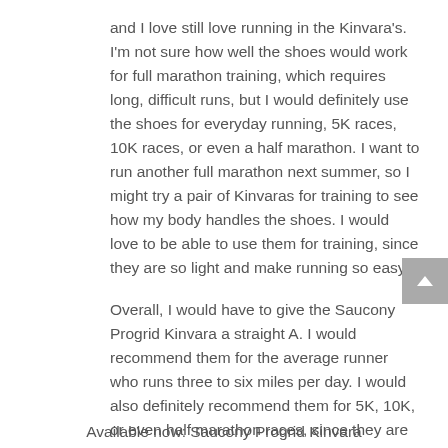and I love still love running in the Kinvara's. I'm not sure how well the shoes would work for full marathon training, which requires long, difficult runs, but I would definitely use the shoes for everyday running, 5K races, 10K races, or even a half marathon. I want to run another full marathon next summer, so I might try a pair of Kinvaras for training to see how my body handles the shoes. I would love to be able to use them for training, since they are so light and make running so easy.
Overall, I would have to give the Saucony Progrid Kinvara a straight A. I would recommend them for the average runner who runs three to six miles per day. I would also definitely recommend them for 5K, 10K, or even half marathon races, since they are cushioned enough to handle the distance, yet light enough to add speed and keep your feet feeling fresh throughout the run.
Available now: Saucony Progrid Kinvara